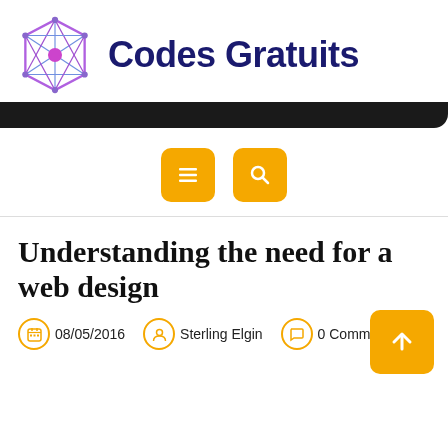[Figure (logo): Codes Gratuits logo: geometric polygon/network icon in blue and magenta/purple, followed by brand name 'Codes Gratuits' in dark navy bold text]
[Figure (other): Dark navigation bar strip with rounded bottom-right corner]
[Figure (other): Two orange square icon buttons: hamburger menu icon and search/magnifying glass icon]
Understanding the need for a web design
08/05/2016   Sterling Elgin   0 Comments